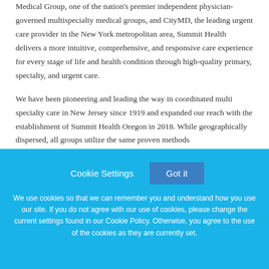Medical Group, one of the nation's premier independent physician-governed multispecialty medical groups, and CityMD, the leading urgent care provider in the New York metropolitan area, Summit Health delivers a more intuitive, comprehensive, and responsive care experience for every stage of life and health condition through high-quality primary, specialty, and urgent care.
We have been pioneering and leading the way in coordinated multi specialty care in New Jersey since 1919 and expanded our reach with the establishment of Summit Health Oregon in 2018. While geographically dispersed, all groups utilize the same proven methods
Cookie Settings
Got it
We use cookies so that we can remember you and understand how you use our site. If you do not agree with our use of cookies, please change the current settings found in our Cookie Policy. Otherwise, you agree to the use of the cookies as they are currently set.